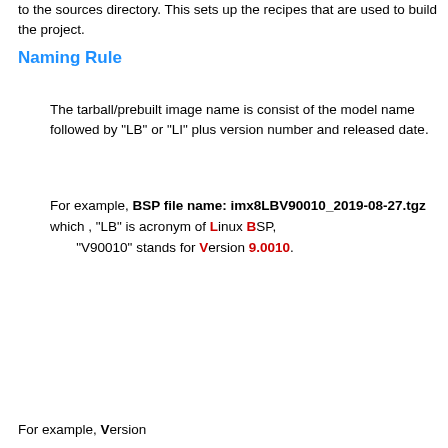to the sources directory. This sets up the recipes that are used to build the project.
Naming Rule
The tarball/prebuilt image name is consist of the model name followed by "LB" or "LI" plus version number and released date.
For example, BSP file name: imx8LBV90010_2019-08-27.tgz which , "LB" is acronym of Linux BSP, "V90010" stands for Version 9.0010.
For example, Version